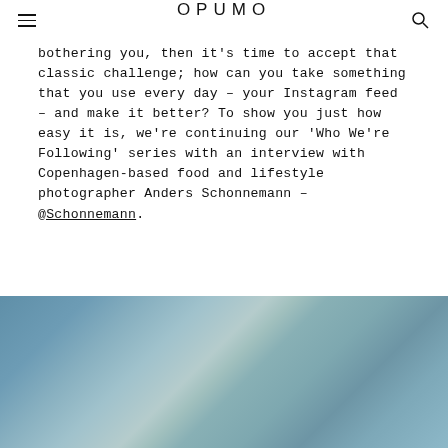OPUMO
bothering you, then it's time to accept that classic challenge; how can you take something that you use every day – your Instagram feed – and make it better? To show you just how easy it is, we're continuing our 'Who We're Following' series with an interview with Copenhagen-based food and lifestyle photographer Anders Schonnemann – @Schonnemann.
[Figure (photo): Partial view of a photo strip at the bottom of the page, appearing to show a person or scene with blue/teal tones, cropped at the page boundary.]